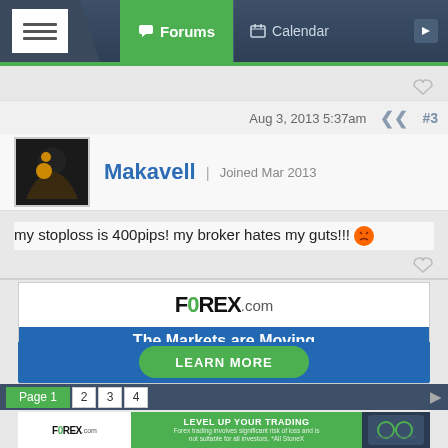Forums | Calendar
Aug 3, 2013 5:37am   #3
Makavell | Joined Mar 2013
my stoploss is 400pips! my broker hates my guts!!!
[Figure (infographic): FOREX.com advertisement banner: 'The Markets are Moving - Trade market volatility with the #1 US forex broker. LEARN MORE']
Page 1  2  3  4
[Figure (infographic): FOREX.com bottom banner ad: 'LEVEL UP YOUR TRADING - Forex trading involves significant risk of loss and is not suitable for all investors. *All StoneX']